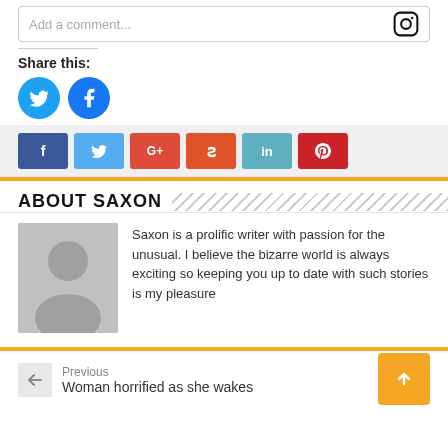Add a comment...
Share this:
[Figure (logo): Twitter circle button (blue)]
[Figure (logo): Facebook circle button (blue)]
[Figure (infographic): Social share buttons: f, Twitter, G+, Stumble, in, Pinterest]
ABOUT SAXON
[Figure (photo): Grey placeholder avatar image]
Saxon is a prolific writer with passion for the unusual. I believe the bizarre world is always exciting so keeping you up to date with such stories is my pleasure
Previous
Woman horrified as she wakes